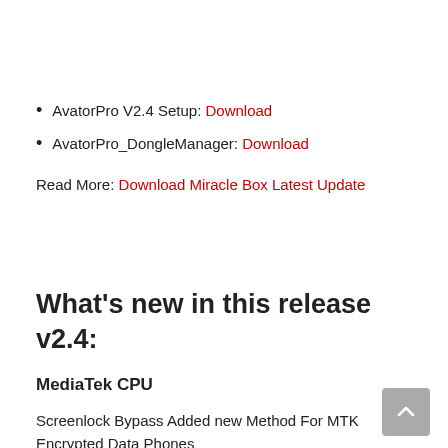AvatorPro V2.4 Setup: Download
AvatorPro_DongleManager: Download
Read More: Download Miracle Box Latest Update
What's new in this release v2.4:
MediaTek CPU
Screenlock Bypass Added new Method For MTK Encrypted Data Phones